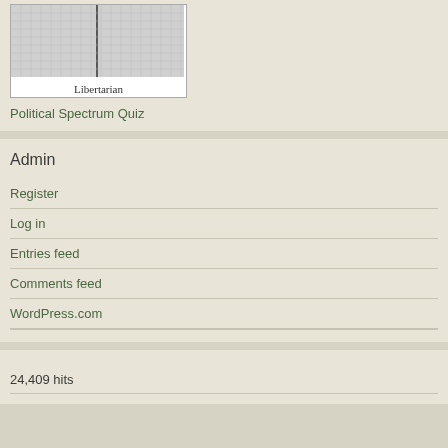[Figure (other): Political compass grid chart with a vertical black line, showing a Libertarian label at the bottom]
Political Spectrum Quiz
Admin
Register
Log in
Entries feed
Comments feed
WordPress.com
24,409 hits